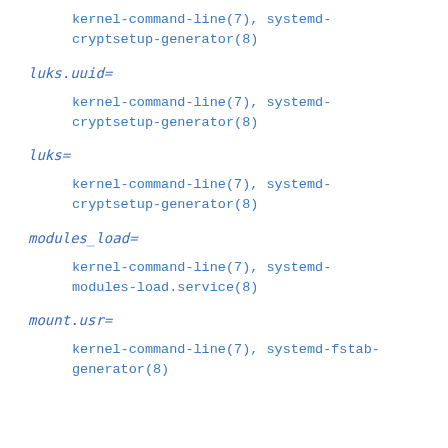kernel-command-line(7), systemd-cryptsetup-generator(8)
luks.uuid=
kernel-command-line(7), systemd-cryptsetup-generator(8)
luks=
kernel-command-line(7), systemd-cryptsetup-generator(8)
modules_load=
kernel-command-line(7), systemd-modules-load.service(8)
mount.usr=
kernel-command-line(7), systemd-fstab-generator(8)